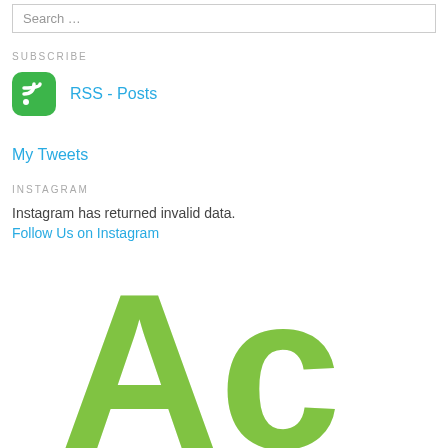Search …
SUBSCRIBE
RSS - Posts
My Tweets
INSTAGRAM
Instagram has returned invalid data.
Follow Us on Instagram
[Figure (logo): Large green 'Ac' logo letters partially visible at bottom of page]